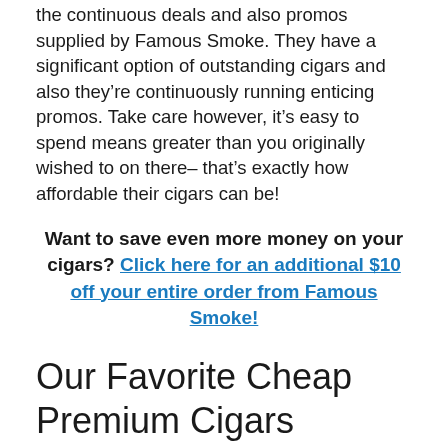the continuous deals and also promos supplied by Famous Smoke. They have a significant option of outstanding cigars and also they're continuously running enticing promos. Take care however, it's easy to spend means greater than you originally wished to on there– that's exactly how affordable their cigars can be!
Want to save even more money on your cigars? Click here for an additional $10 off your entire order from Famous Smoke!
Our Favorite Cheap Premium Cigars